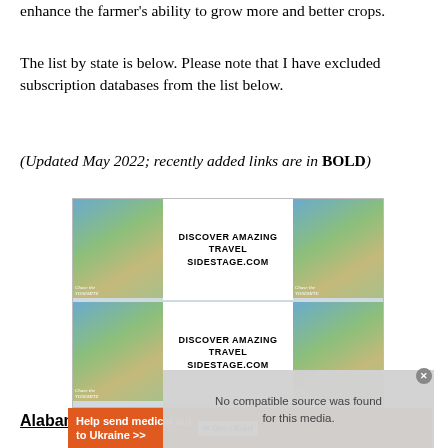enhance the farmer's ability to grow more and better crops.
The list by state is below. Please note that I have excluded subscription databases from the list below.
(Updated May 2022; recently added links are in BOLD)
[Figure (infographic): Advertisement banner: two rows of travel ads showing Yosemite images with text 'DISCOVER AMAZING TRAVEL SIDESTAGE.COM']
Alabama
Journal of Progress
Farm Journal
Alabama Farm Journal
[Figure (infographic): Overlay: No compatible source was found for this media. Close button visible.]
Help send medical aid to Ukraine >> Direct Relief